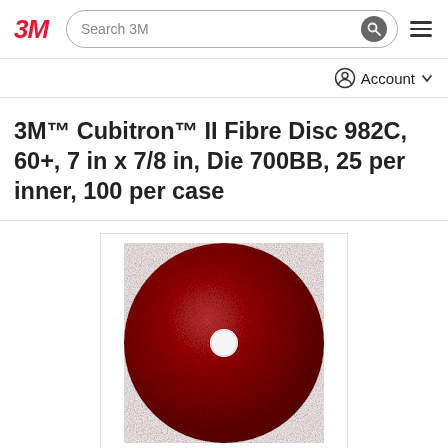3M | Search 3M
Account
3M™ Cubitron™ II Fibre Disc 982C, 60+, 7 in x 7/8 in, Die 700BB, 25 per inner, 100 per case
[Figure (photo): A round dark red/maroon abrasive fibre disc with a small center hole, shown against a white background in a bordered product image box.]